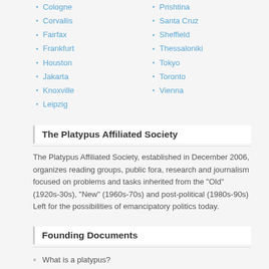Cologne
Prishtina
Corvallis
Santa Cruz
Fairfax
Sheffield
Frankfurt
Thessaloniki
Houston
Tokyo
Jakarta
Toronto
Knoxville
Vienna
Leipzig
The Platypus Affiliated Society
The Platypus Affiliated Society, established in December 2006, organizes reading groups, public fora, research and journalism focused on problems and tasks inherited from the “Old” (1920s-30s), “New” (1960s-70s) and post-political (1980s-90s) Left for the possibilities of emancipatory politics today.
Founding Documents
What is a platypus?
Statement of Purpose